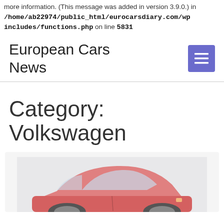more information. (This message was added in version 3.9.0.) in /home/ab22974/public_html/eurocarsdiary.com/wp includes/functions.php on line 5831
European Cars News
Category: Volkswagen
[Figure (photo): Partial view of a pink/red Volkswagen car on a light grey background, cropped at bottom of page]